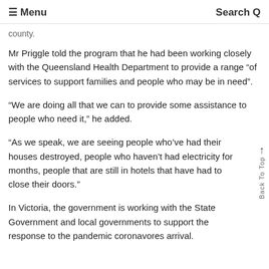≡ Menu    Search Q
county.
Mr Priggle told the program that he had been working closely with the Queensland Health Department to provide a range "of services to support families and people who may be in need".
"We are doing all that we can to provide some assistance to people who need it," he added.
"As we speak, we are seeing people who've had their houses destroyed, people who haven't had electricity for months, people that are still in hotels that have had to close their doors."
In Victoria, the government is working with the State Government and local governments to support the response to the pandemic coronavores arrival.